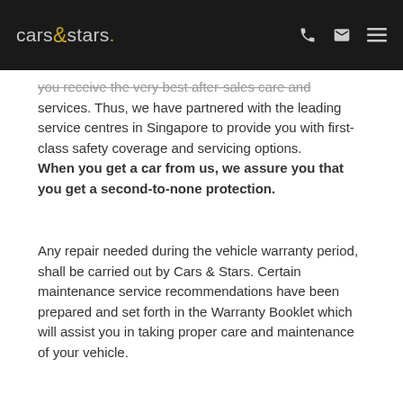cars&stars.
you receive the very best after-sales care and services. Thus, we have partnered with the leading service centres in Singapore to provide you with first-class safety coverage and servicing options. When you get a car from us, we assure you that you get a second-to-none protection.
Any repair needed during the vehicle warranty period, shall be carried out by Cars & Stars. Certain maintenance service recommendations have been prepared and set forth in the Warranty Booklet which will assist you in taking proper care and maintenance of your vehicle.